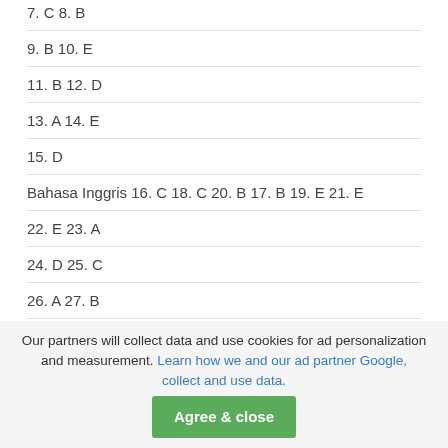7. C 8. B
9. B 10. E
11. B 12. D
13. A 14. E
15. D
Bahasa Inggris 16. C 18. C 20. B 17. B 19. E 21. E
22. E 23. A
24. D 25. C
26. A 27. B
28. B 29. A
Our partners will collect data and use cookies for ad personalization and measurement. Learn how we and our ad partner Google, collect and use data.